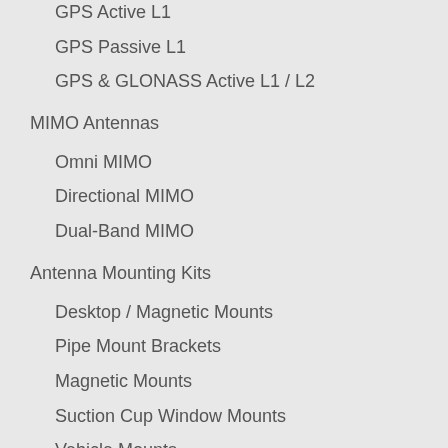GPS Active L1
GPS Passive L1
GPS & GLONASS Active L1 / L2
MIMO Antennas
Omni MIMO
Directional MIMO
Dual-Band MIMO
Antenna Mounting Kits
Desktop / Magnetic Mounts
Pipe Mount Brackets
Magnetic Mounts
Suction Cup Window Mounts
Vehicle Mounts